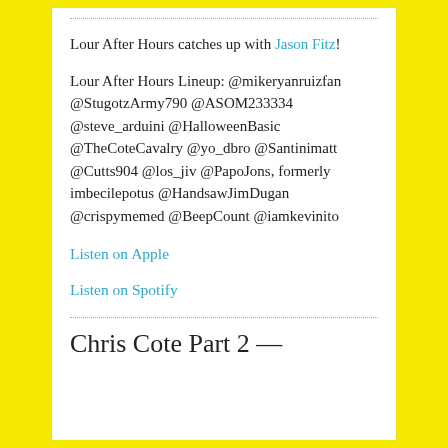Lour After Hours catches up with Jason Fitz!
Lour After Hours Lineup: @mikeryanruizfan @StugotzArmy790 @ASOM233334 @steve_arduini @HalloweenBasic @TheCoteCavalry @yo_dbro @Santinimatt @Cutts904 @los_jiv @PapoJons, formerly imbecilepotus @HandsawJimDugan @crispymemed @BeepCount @iamkevinito
Listen on Apple
Listen on Spotify
Chris Cote Part 2 —